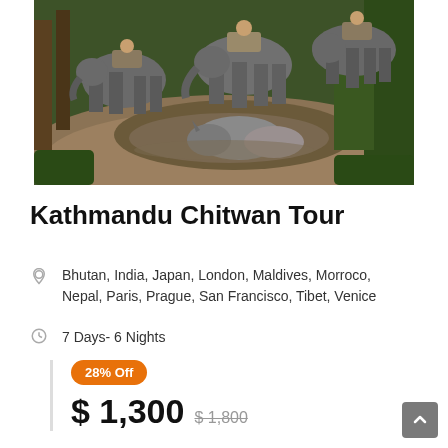[Figure (photo): Elephants with riders walking through a jungle path toward a muddy water area where animals including a rhinoceros are visible.]
Kathmandu Chitwan Tour
Bhutan, India, Japan, London, Maldives, Morroco, Nepal, Paris, Prague, San Francisco, Tibet, Venice
7 Days- 6 Nights
28% Off
$ 1,300 $ 1,800